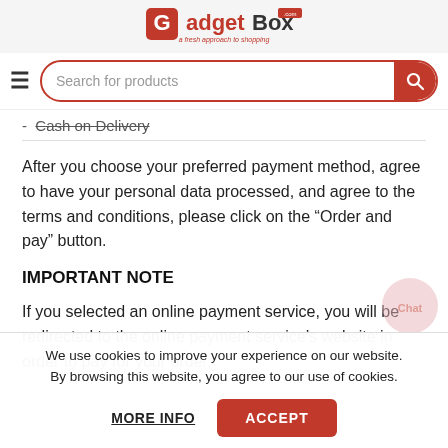[Figure (logo): GadgetBox logo in red with tagline 'a fresh approach to shopping']
Search for products [search bar with hamburger menu]
Cash on Delivery
After you choose your preferred payment method, agree to have your personal data processed, and agree to the terms and conditions, please click on the “Order and pay” button.
IMPORTANT NOTE
If you selected an online payment service, you will be redirected to the online payment service’s website in order to pay for your order.
We use cookies to improve your experience on our website. By browsing this website, you agree to our use of cookies.
MORE INFO   ACCEPT